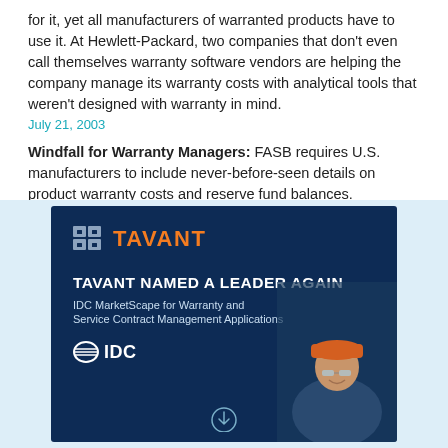for it, yet all manufacturers of warranted products have to use it. At Hewlett-Packard, two companies that don't even call themselves warranty software vendors are helping the company manage its warranty costs with analytical tools that weren't designed with warranty in mind.
July 21, 2003
Windfall for Warranty Managers: FASB requires U.S. manufacturers to include never-before-seen details on product warranty costs and reserve fund balances.
June 2, 2003
[Figure (infographic): Tavant advertisement banner with dark blue background. Shows Tavant logo in orange, text 'TAVANT NAMED A LEADER AGAIN', subtitle 'IDC MarketScape for Warranty and Service Contract Management Applications', IDC logo, and a photo of a smiling worker wearing an orange hard hat and safety glasses.]